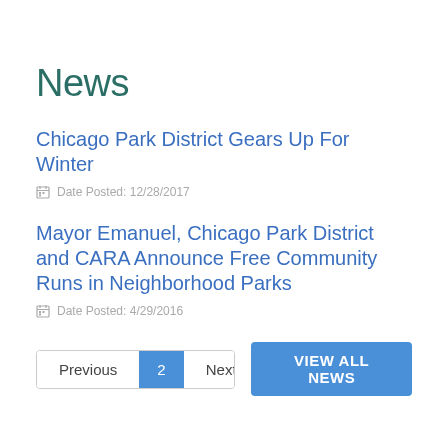News
Chicago Park District Gears Up For Winter
Date Posted: 12/28/2017
Mayor Emanuel, Chicago Park District and CARA Announce Free Community Runs in Neighborhood Parks
Date Posted: 4/29/2016
Previous  2  Next  VIEW ALL NEWS